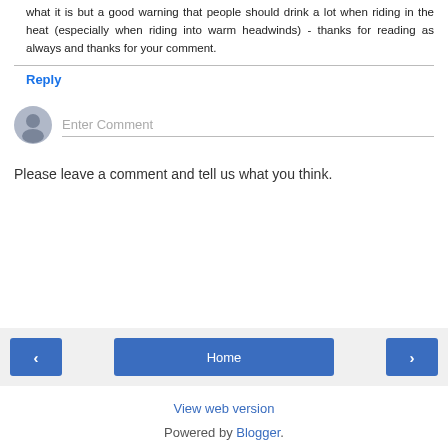what it is but a good warning that people should drink a lot when riding in the heat (especially when riding into warm headwinds) - thanks for reading as always and thanks for your comment.
Reply
Enter Comment
Please leave a comment and tell us what you think.
Home
View web version
Powered by Blogger.